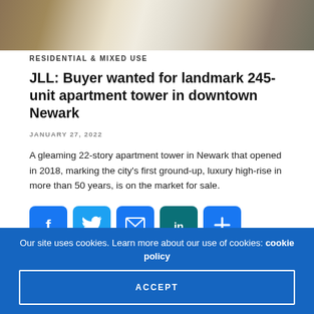[Figure (photo): Aerial or street-level view of an urban road with trees and buildings]
RESIDENTIAL & MIXED USE
JLL: Buyer wanted for landmark 245-unit apartment tower in downtown Newark
JANUARY 27, 2022
A gleaming 22-story apartment tower in Newark that opened in 2018, marking the city's first ground-up, luxury high-rise in more than 50 years, is on the market for sale.
[Figure (infographic): Social share buttons: Facebook, Twitter, Email, LinkedIn, More]
[Figure (photo): Bottom partial image showing sports or outdoor equipment on wooden surface]
Our site uses cookies. Learn more about our use of cookies: cookie policy
ACCEPT